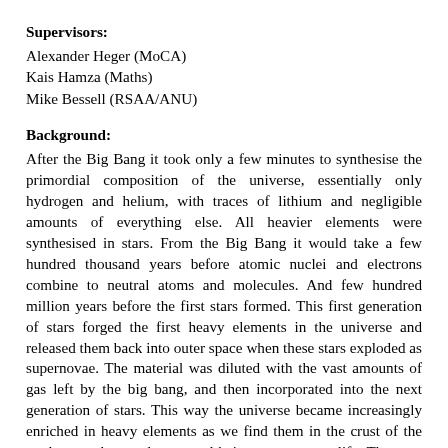Supervisors:
Alexander Heger (MoCA)
Kais Hamza (Maths)
Mike Bessell (RSAA/ANU)
Background:
After the Big Bang it took only a few minutes to synthesise the primordial composition of the universe, essentially only hydrogen and helium, with traces of lithium and negligible amounts of everything else. All heavier elements were synthesised in stars. From the Big Bang it would take a few hundred thousand years before atomic nuclei and electrons combine to neutral atoms and molecules. And few hundred million years before the first stars formed. This first generation of stars forged the first heavy elements in the universe and released them back into outer space when these stars exploded as supernovae. The material was diluted with the vast amounts of gas left by the big bang, and then incorporated into the next generation of stars. This way the universe became increasingly enriched in heavy elements as we find them in the crust of the earth, to make up planets, and being necessary to life. The very first generation of stars is thought to be quite short-lived, and all of them are gone by now. The second generation would only have very small trace of the ashes of the first generation of stars, and being much longer-lived, we can find them in our solar system. The ratio of elements in these stars can